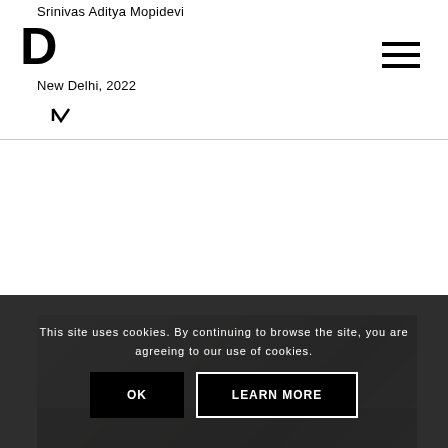Srinivas Aditya Mopidevi DV New Delhi, 2022
[Figure (screenshot): Partial interior photo of a room with white ceiling/walls, partially visible below cookie consent overlay]
This site uses cookies. By continuing to browse the site, you are agreeing to our use of cookies.
OK
LEARN MORE